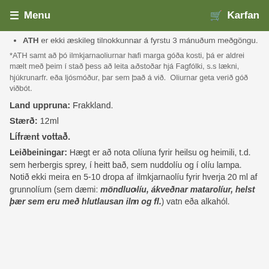Menu   Karfan
ATH er ekki æskileg tilnokkunnar á fyrstu 3 mánuðum meðgöngu.
*ATH samt að þó ilmkjarnaoliurnar hafi marga góða kosti, þá er aldrei mælt með þeim í stað þess að leita aðstoðar hjá Fagfólki, s.s lækni, hjúkrunarfr. eða ljósmóður, þar sem það á við.  Oliurnar geta verið góð viðbót.
Land uppruna: Frakkland.
Stærð: 12ml
Lífrænt vottað.
Leiðbeiningar: Hægt er að nota olíuna fyrir heilsu og heimili, t.d. sem herbergis sprey, í heitt bað, sem nuddolíu og í olíu lampa.  Notið ekki meira en 5-10 dropa af ilmkjarnaolíu fyrir hverja 20 ml af grunnolíum (sem dæmi: möndluolíu, ákveðnar matarolíur, helst þær sem eru með hlutlausan ilm og fl.) vatn eða alkahól.